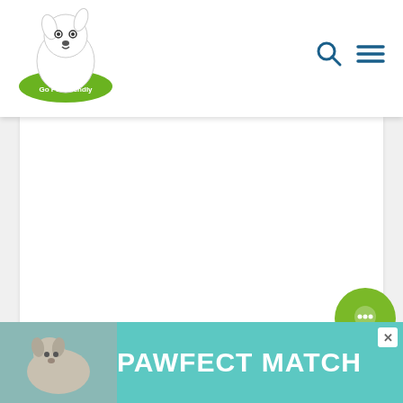[Figure (logo): Go Pet Friendly logo — dog sitting on green oval with text 'Go Pet Friendly']
[Figure (other): Search icon (magnifying glass) and hamburger menu icon in dark teal/blue]
[Figure (other): White content area — main article/page body]
[Figure (other): Share widget: count '0' and share icon in circular white pill]
[Figure (other): Green circular chat/comment button]
[Figure (other): Teal advertisement banner with dog photo and 'PAWFECT MATCH' text, with close X button]